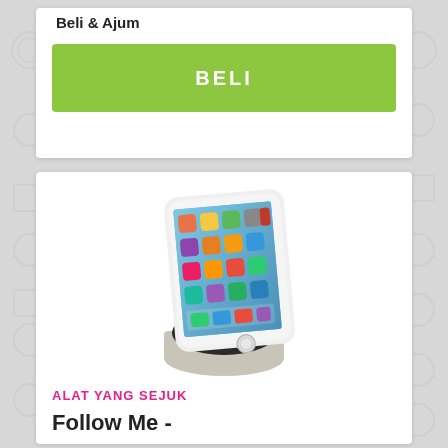Beli & Ajum
BELI
[Figure (photo): A smartphone (iPhone) mounted upright on a dome-shaped robotic stand/dock. The phone displays the iOS home screen with app icons. The dock is dark gray/black on top and beige/silver on the bottom.]
ALAT YANG SEJUK
Follow Me -